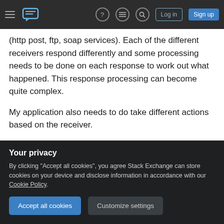Stack Exchange navigation bar with hamburger menu, logo, help, chat, search icons, Log in and Sign up buttons
(http post, ftp, soap services). Each of the different receivers respond differently and some processing needs to be done on each response to work out what happened. This response processing can become quite complex.
My application also needs to do take different actions based on the receiver.
My Solution
My plan is to create a separate class for each
Your privacy
By clicking "Accept all cookies", you agree Stack Exchange can store cookies on your device and disclose information in accordance with our Cookie Policy.
Accept all cookies
Customize settings
receiver to load. I'll pass this to the factory